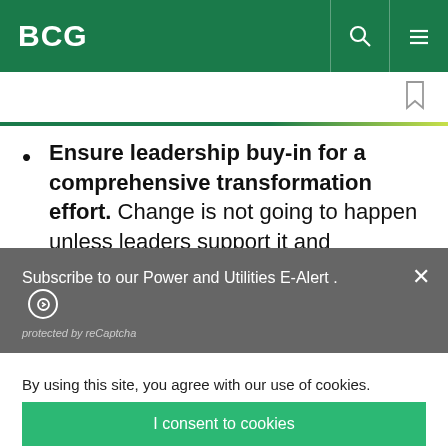BCG
Ensure leadership buy-in for a comprehensive transformation effort. Change is not going to happen unless leaders support it and demonstrate
Subscribe to our Power and Utilities E-Alert. ⊙
protected by reCaptcha
By using this site, you agree with our use of cookies.
I consent to cookies
Want to know more?
Read our Cookie Policy